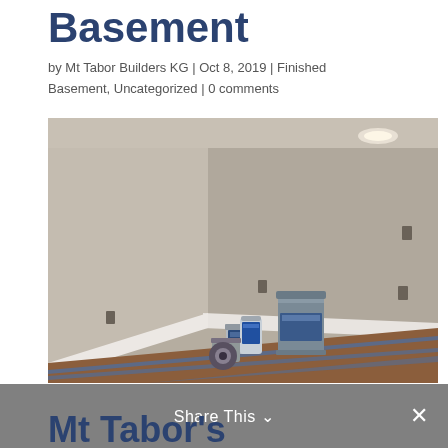Basement
by Mt Tabor Builders KG | Oct 8, 2019 | Finished Basement, Uncategorized | 0 comments
[Figure (photo): Interior photo of a finished basement room with gray painted walls, white baseboards, recessed ceiling light, electrical outlets on walls, and painter's supplies (paint cans, blue painter's tape, gray bucket) on brown cardboard floor protection.]
Share This ∨  ✕
Mt Tabor's